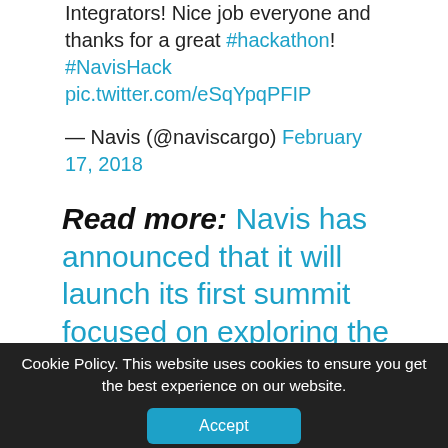Best innovation at NavisHack are... Smart Integrators! Nice job everyone and thanks for a great #hackathon! #NavisHack pic.twitter.com/eSqYpqPFIP
— Navis (@naviscargo) February 17, 2018
Read more: Navis has announced that it will launch its first summit focused on exploring the evolution of terminal automation technology in London before it
Cookie Policy. This website uses cookies to ensure you get the best experience on our website.